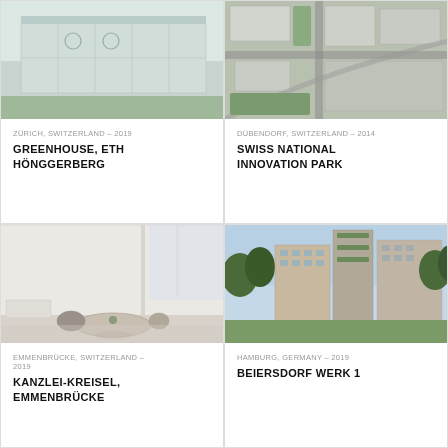[Figure (photo): Modern glass greenhouse building exterior at ETH Hönggerberg]
ZÜRICH, SWITZERLAND – 2019
GREENHOUSE, ETH HÖNGGERBERG
[Figure (photo): Aerial view of Swiss National Innovation Park development]
DÜBENDORF, SWITZERLAND – 2014
SWISS NATIONAL INNOVATION PARK
[Figure (photo): Interior of modern office or residential space with round table]
EMMENBRÜCKE, SWITZERLAND – 2019
KANZLEI-KREISEL, EMMENBRÜCKE
[Figure (photo): Urban residential buildings with greenery in Hamburg]
HAMBURG, GERMANY – 2019
BEIERSDORF WERK 1